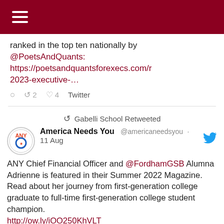ranked in the top ten nationally by @PoetsAndQuants: https://poetsandquantsforexecs.com/r 2023-executive-…
2  4  Twitter
Gabelli School Retweeted
America Needs You @americaneedsyou · 11 Aug
ANY Chief Financial Officer and @FordhamGSB Alumna Adrienne is featured in their Summer 2022 Magazine. Read about her journey from first-generation college graduate to full-time first-generation college student champion. http://ow.ly/iOO250KhVLT